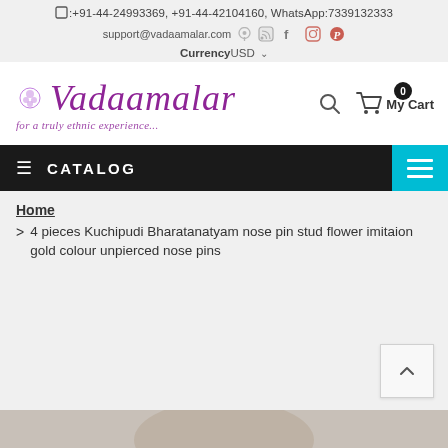☐:+91-44-24993369, +91-44-42104160, WhatsApp:7339132333
support@vadaamalar.com  Currency USD
[Figure (logo): Vadaamalar logo with cursive purple text and tagline 'for a truly ethnic experience...']
My Cart 0
≡ CATALOG
Home
> 4 pieces Kuchipudi Bharatanatyam nose pin stud flower imitaion gold colour unpierced nose pins
[Figure (photo): Partial product photo at bottom of page]